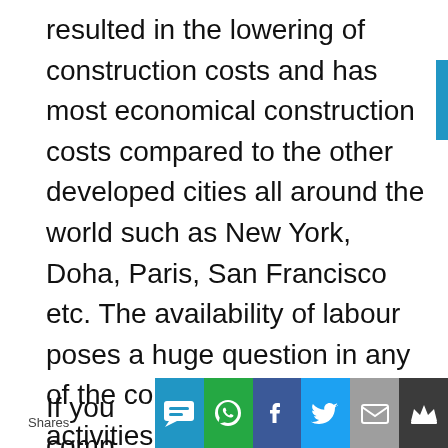resulted in the lowering of construction costs and has most economical construction costs compared to the other developed cities all around the world such as New York, Doha, Paris, San Francisco etc. The availability of labour poses a huge question in any of the construction activities.The increasing competition, the upcoming major global events and the tax-free environment allows the various construction companies to give a good return on investment.
If you
comp